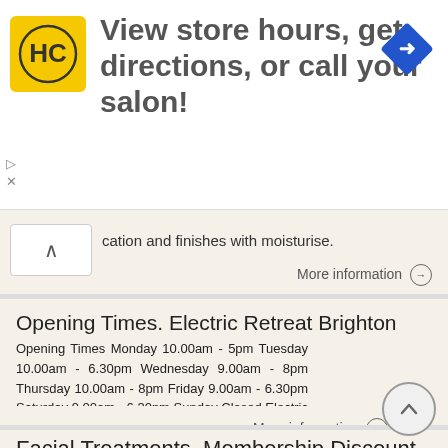[Figure (logo): HC (Hair Club) logo in yellow square, advertisement banner with text 'View store hours, get directions, or call your salon!' and a blue diamond navigation icon]
cation and finishes with moisturise.
More information →
Opening Times. Electric Retreat Brighton
Opening Times Monday 10.00am - 5pm Tuesday 10.00am - 6.30pm Wednesday 9.00am - 8pm Thursday 10.00am - 8pm Friday 9.00am - 6.30pm Saturday 9.00am - 6.30pm Sunday Closed Electric Retreat Electric Hairdressing
More information →
Facial Treatments. Membership Discount